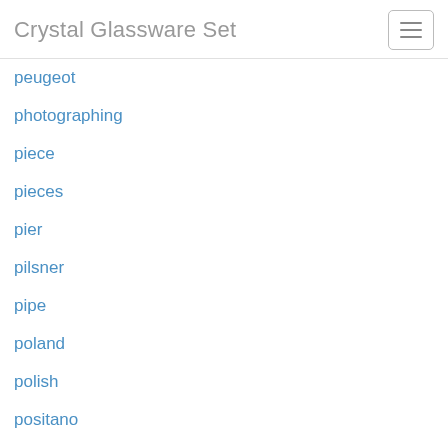Crystal Glassware Set
peugeot
photographing
piece
pieces
pier
pilsner
pipe
poland
polish
positano
pours
powerscourt